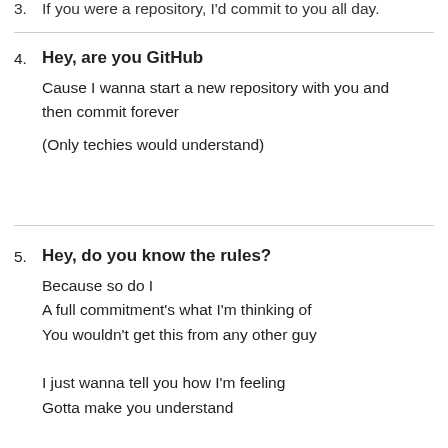3. If you were a repository, I'd commit to you all day.
4. Hey, are you GitHub
Cause I wanna start a new repository with you and then commit forever

(Only techies would understand)
5. Hey, do you know the rules?
Because so do I
A full commitment's what I'm thinking of
You wouldn't get this from any other guy

I just wanna tell you how I'm feeling
Gotta make you understand

Never gonna give you up